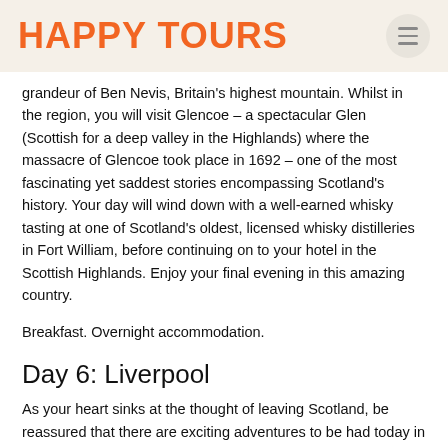HAPPY TOURS
grandeur of Ben Nevis, Britain's highest mountain. Whilst in the region, you will visit Glencoe – a spectacular Glen (Scottish for a deep valley in the Highlands) where the massacre of Glencoe took place in 1692 – one of the most fascinating yet saddest stories encompassing Scotland's history. Your day will wind down with a well-earned whisky tasting at one of Scotland's oldest, licensed whisky distilleries in Fort William, before continuing on to your hotel in the Scottish Highlands. Enjoy your final evening in this amazing country.
Breakfast. Overnight accommodation.
Day 6: Liverpool
As your heart sinks at the thought of leaving Scotland, be reassured that there are exciting adventures to be had today in England! Your Great Britain tour will take a twist into modern history, as you head across the border, bound for Liverpool – the home of The Beatles and two world-famous premier league football clubs! On the way you can soak up the last of the Scottish